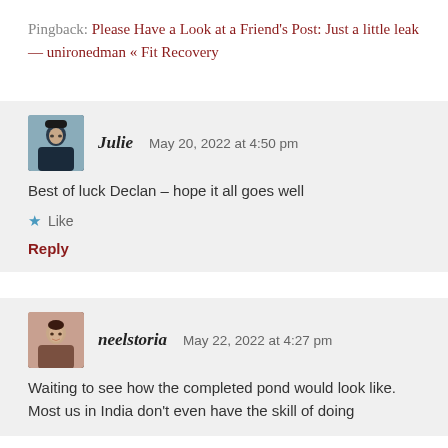Pingback: Please Have a Look at a Friend's Post: Just a little leak — unironedman « Fit Recovery
Julie   May 20, 2022 at 4:50 pm
Best of luck Declan – hope it all goes well
★ Like
Reply
neelstoria   May 22, 2022 at 4:27 pm
Waiting to see how the completed pond would look like. Most us in India don't even have the skill of doing…